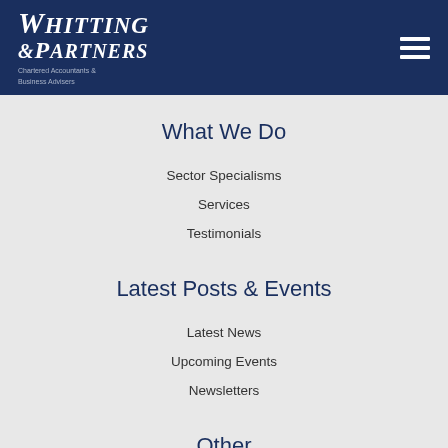[Figure (logo): Whiting & Partners Chartered Accountants & Business Advisers logo in white on dark navy header]
What We Do
Sector Specialisms
Services
Testimonials
Latest Posts & Events
Latest News
Upcoming Events
Newsletters
Other